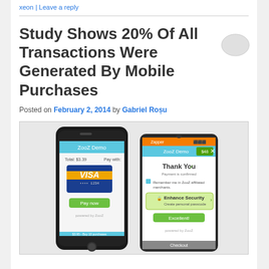xeon | Leave a reply
Study Shows 20% Of All Transactions Were Generated By Mobile Purchases
Posted on February 2, 2014 by Gabriel Roșu
[Figure (photo): Two smartphones showing mobile payment apps — an iPhone displaying a Visa card payment screen via ZooZ, and an Android phone showing a ZooZ payment confirmation 'Thank You' screen with Enhance Security option.]